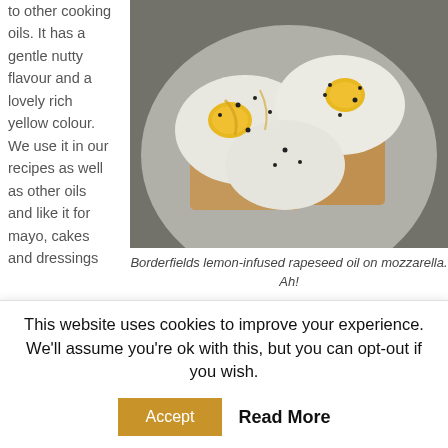to other cooking oils. It has a gentle nutty flavour and a lovely rich yellow colour. We use it in our recipes as well as other oils and like it for mayo, cakes and dressings
[Figure (photo): Overhead view of fried eggs with black pepper and yellow yolk on toast on a grey plate, drizzled with rapeseed oil]
Borderfields lemon-infused rapeseed oil on mozzarella. Ah!
This website uses cookies to improve your experience. We'll assume you're ok with this, but you can opt-out if you wish.
Accept   Read More